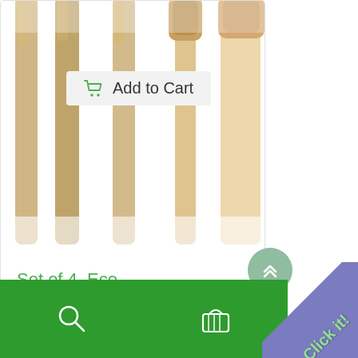[Figure (photo): Product image showing set of 4 eco bamboo toothbrushes arranged vertically, with an 'Add to Cart' button overlay]
Set of 4, Eco...
$24.88
[Figure (screenshot): Mobile app bottom navigation bar with green background showing search icon and cart/basket icon, and a purple 'Click it!' corner badge]
[Figure (other): Scroll-to-top circular button with double chevron up arrows]